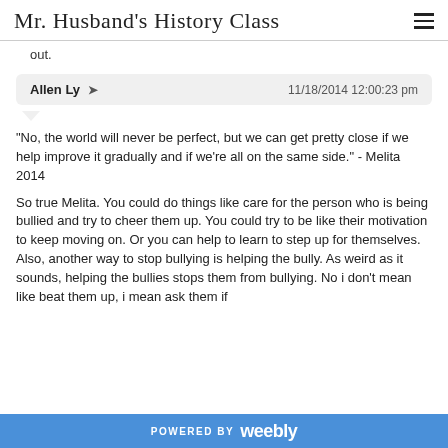Mr. Husband's History Class
out.
Allen Ly ➤  11/18/2014 12:00:23 pm
"No, the world will never be perfect, but we can get pretty close if we help improve it gradually and if we're all on the same side." - Melita 2014

So true Melita. You could do things like care for the person who is being bullied and try to cheer them up. You could try to be like their motivation to keep moving on. Or you can help to learn to step up for themselves. Also, another way to stop bullying is helping the bully. As weird as it sounds, helping the bullies stops them from bullying. No i don't mean like beat them up, i mean ask them if
POWERED BY weebly